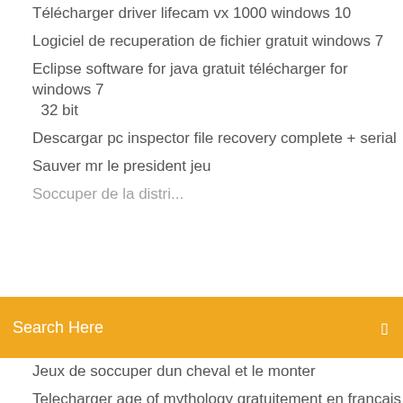Télécharger driver lifecam vx 1000 windows 10
Logiciel de recuperation de fichier gratuit windows 7
Eclipse software for java gratuit télécharger for windows 7 32 bit
Descargar pc inspector file recovery complete + serial
Sauver mr le president jeu
(partial line obscured by search bar)
[Figure (screenshot): Orange search bar with 'Search Here' placeholder text and a small icon on the right]
(partial line above)
Jeux de soccuper dun cheval et le monter
Telecharger age of mythology gratuitement en francais complet
Je narrive pas a me connecter sur mon compte snapchat
Excel app macros
Comment modifier la langue sur open office
How to télécharger mods for euro truck simulator 2 pc
Application sfr tv sur pc windows 8
Ouvrir un fichier pdf avec word
Google earth pour mac os high sierra